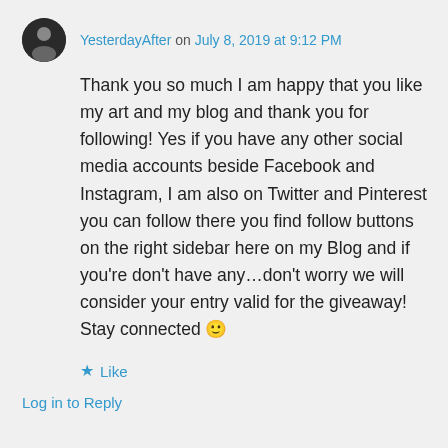YesterdayAfter on July 8, 2019 at 9:12 PM
Thank you so much I am happy that you like my art and my blog and thank you for following! Yes if you have any other social media accounts beside Facebook and Instagram, I am also on Twitter and Pinterest you can follow there you find follow buttons on the right sidebar here on my Blog and if you're don't have any...don't worry we will consider your entry valid for the giveaway! Stay connected 🙂
★ Like
Log in to Reply